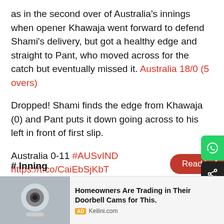as in the second over of Australia's innings when opener Khawaja went forward to defend Shami's delivery, but got a healthy edge and straight to Pant, who moved across for the catch but eventually missed it. Australia 18/0 (5 overs)
Dropped! Shami finds the edge from Khawaja (0) and Pant puts it down going across to his left in front of first slip.
Australia 0-11 #AUSvIND https://t.co/CaiEbSjKbT
— cricket.com.au (@cricketcomau) January 4, 2019
# Marcus Harris and Usm... have walked down the crease to begin Australia's innings. Mohammed Shami will begin the proceedings for India.
# Innings Break
Innings...
[Figure (other): Read in App button overlay on text]
[Figure (other): WhatsApp share button on right side]
[Figure (other): Share button on right side]
[Figure (other): Advertisement banner at bottom: Homeowners Are Trading in Their Doorbell Cams for This. AD Keilini.com]